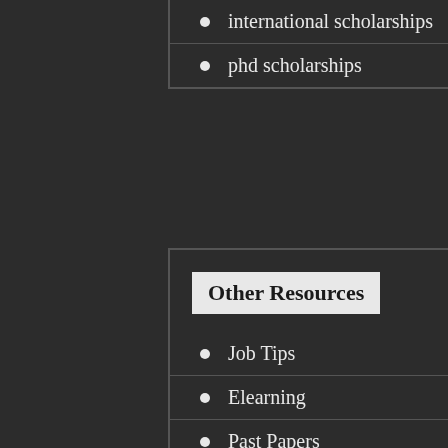international scholarships
phd scholarships
Other Resources
Job Tips
Elearning
Past Papers
Guess Papers
Apps